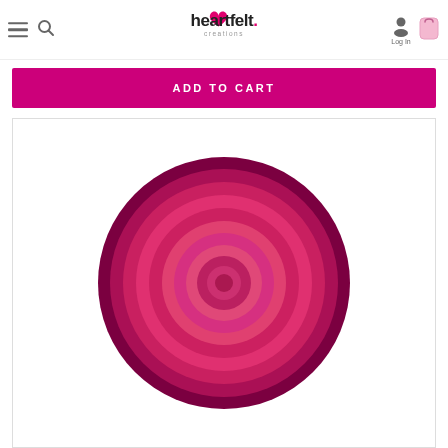Heartfelt Creations — navigation header with hamburger menu, search, logo, Log In, cart
ADD TO CART
[Figure (photo): Product image showing concentric circles die cuts in shades of crimson and magenta pink, layered from large outer circle to small inner circle, creating a 3D layered circle effect on white background]